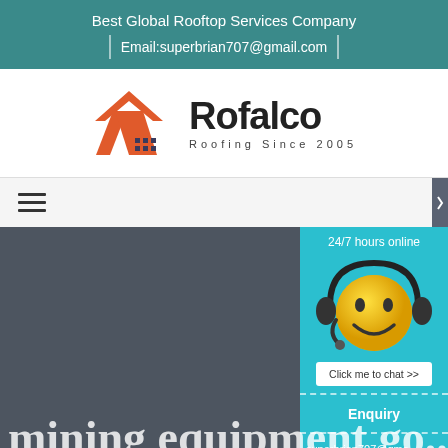Best Global Rooftop Services Company
Email:superbrian707@gmail.com
[Figure (logo): Rofalco Roofing Since 2005 logo with orange/red house roof icon]
[Figure (other): Hamburger menu icon (three horizontal lines)]
[Figure (infographic): Chat widget with '24/7 hours online' text, yellow smiley face with headset, 'Click me to chat >>' button, Enquiry section, and superbrian707@gma... email]
mining equipment go...